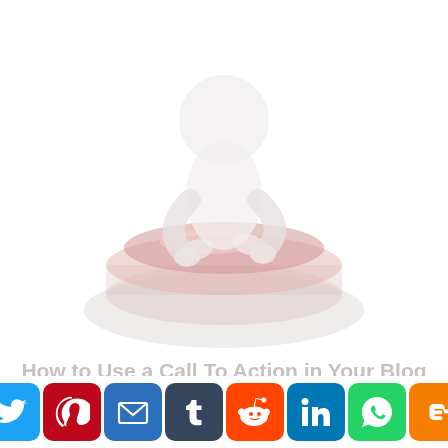[Figure (illustration): A faded/washed-out 3D illustration of a white humanoid figure pressing a large red button on a white/light gray base, viewed from a slight angle. The image is very light/desaturated giving an almost ghostly white appearance.]
How to Use a Call To Action in Your Blog
[Figure (infographic): A row of 10 social media sharing icon buttons: Facebook (blue), Twitter (light blue), Pinterest (dark red), Email (blue), Tumblr (dark slate), Reddit (orange-red), LinkedIn (teal-blue), WhatsApp (green), Blogger (orange), and a plus/more button (blue).]